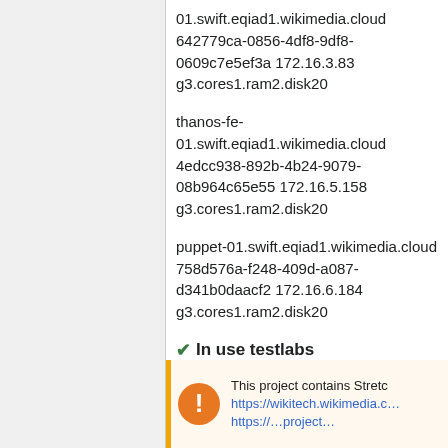01.swift.eqiad1.wikimedia.cloud 642779ca-0856-4df8-9df8-0609c7e5ef3a 172.16.3.83 g3.cores1.ram2.disk20
thanos-fe-01.swift.eqiad1.wikimedia.cloud 4edcc938-892b-4b24-9079-08b964c65e55 172.16.5.158 g3.cores1.ram2.disk20
puppet-01.swift.eqiad1.wikimedia.cloud 758d576a-f248-409d-a087-d341b0daacf2 172.16.6.184 g3.cores1.ram2.disk20
✔ In use testlabs
andrew (talk) 20:51, 2 December 2021 (UTC)
This project contains Stret… https://wikitech.wikimedia.c…